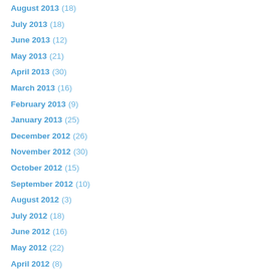August 2013 (18)
July 2013 (18)
June 2013 (12)
May 2013 (21)
April 2013 (30)
March 2013 (16)
February 2013 (9)
January 2013 (25)
December 2012 (26)
November 2012 (30)
October 2012 (15)
September 2012 (10)
August 2012 (3)
July 2012 (18)
June 2012 (16)
May 2012 (22)
April 2012 (8)
March 2012 (18)
February 2012 (8)
January 2012 (23)